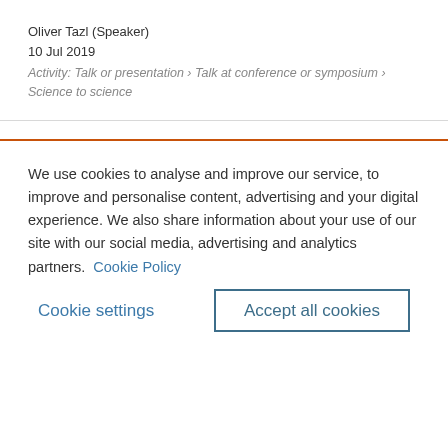Oliver Tazl (Speaker)
10 Jul 2019
Activity: Talk or presentation › Talk at conference or symposium › Science to science
We use cookies to analyse and improve our service, to improve and personalise content, advertising and your digital experience. We also share information about your use of our site with our social media, advertising and analytics partners.  Cookie Policy
Cookie settings
Accept all cookies